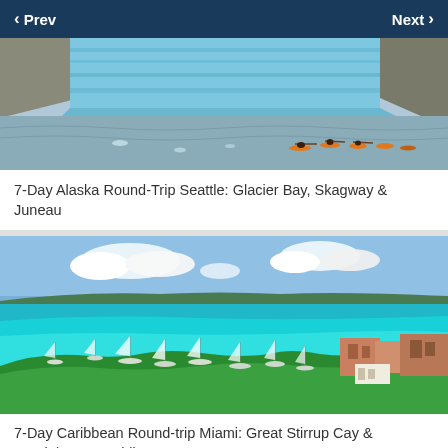Prev   Next
[Figure (photo): Aerial view of kayakers paddling near a large glacier in Alaska with icy blue glacier face in background]
7-Day Alaska Round-Trip Seattle: Glacier Bay, Skagway & Juneau
[Figure (photo): Aerial view of a Caribbean harbor with turquoise water, sailboats, tropical vegetation, and resort buildings]
7-Day Caribbean Round-trip Miami: Great Stirrup Cay & Dominican Republic